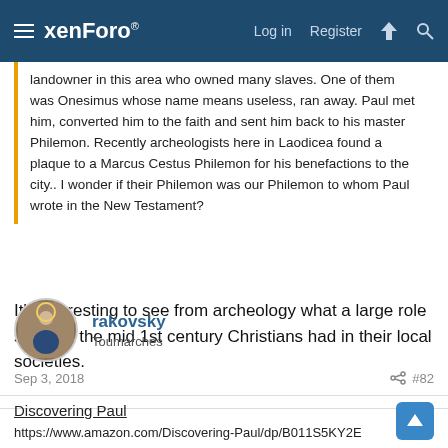xenForo — Log in   Register
landowner in this area who owned many slaves. One of them was Onesimus whose name means useless, ran away. Paul met him, converted him to the faith and sent him back to his master Philemon. Recently archeologists here in Laodicea found a plaque to a Marcus Cestus Philemon for his benefactions to the city.. I wonder if their Philemon was our Philemon to whom Paul wrote in the New Testament?
It's interesting to see from archeology what a large role some of the mid 1st century Christians had in their local societies.
rakovsky
Toumarches
Sep 3, 2018   #82
Discovering Paul
https://www.amazon.com/Discovering-Paul/dp/B011S5KY2E